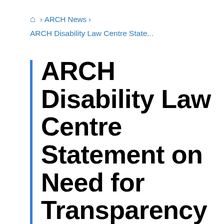🏠 > ARCH News > ARCH Disability Law Centre State...
ARCH Disability Law Centre Statement on Need for Transparency and Ongoing